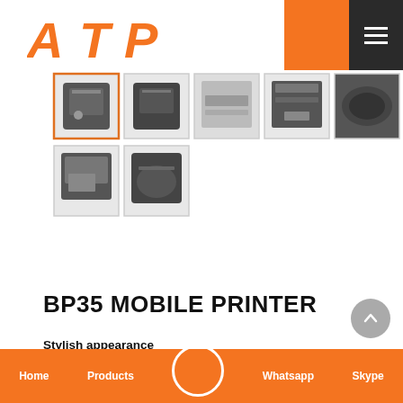[Figure (logo): ATP logo in orange italic bold font with stylized A, T, P letters]
[Figure (photo): Gallery of 7 product thumbnail images of BP35 Mobile Printer from various angles]
BP35 MOBILE PRINTER
Stylish appearance
Support QR Code, Barcode,Graphic print
Good anti-fall performance
Compatible with sewing paper and continuous paper
With display,support multiple languages
Long battery life,up to 72 hours of standby
Home   Products   Whatsapp   Skype